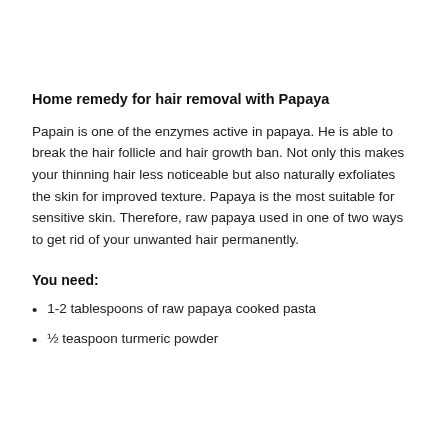Home remedy for hair removal with Papaya
Papain is one of the enzymes active in papaya. He is able to break the hair follicle and hair growth ban. Not only this makes your thinning hair less noticeable but also naturally exfoliates the skin for improved texture. Papaya is the most suitable for sensitive skin. Therefore, raw papaya used in one of two ways to get rid of your unwanted hair permanently.
You need:
1-2 tablespoons of raw papaya cooked pasta
½ teaspoon turmeric powder